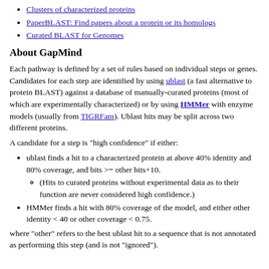Clusters of characterized proteins
PaperBLAST: Find papers about a protein or its homologs
Curated BLAST for Genomes
About GapMind
Each pathway is defined by a set of rules based on individual steps or genes. Candidates for each step are identified by using ublast (a fast alternative to protein BLAST) against a database of manually-curated proteins (most of which are experimentally characterized) or by using HMMer with enzyme models (usually from TIGRFam). Ublast hits may be split across two different proteins.
A candidate for a step is "high confidence" if either:
ublast finds a hit to a characterized protein at above 40% identity and 80% coverage, and bits >= other bits+10.
(Hits to curated proteins without experimental data as to their function are never considered high confidence.)
HMMer finds a hit with 80% coverage of the model, and either other identity < 40 or other coverage < 0.75.
where "other" refers to the best ublast hit to a sequence that is not annotated as performing this step (and is not "ignored").